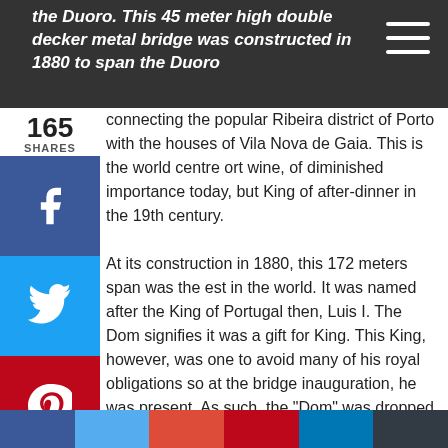the Duoro. This 45 meter high double decker metal bridge was constructed in 1880 to span the Duoro
connecting the popular Ribeira district of Porto with the houses of Vila Nova de Gaia. This is the world centre ort wine, of diminished importance today, but King of after-dinner in the 19th century.

At its construction in 1880, this 172 meters span was the est in the world. It was named after the King of Portugal then, Luis I. The Dom signifies it was a gift for King. This King, however, was one to avoid many of his royal obligations so at the bridge inauguration, he was present. As such, the "Dom" was dropped and the ge just took on the name, Luis I.
[Figure (other): Social share sidebar with Facebook (blue), Twitter (light blue), Pinterest (red), LinkedIn (blue), Buffer (dark), and More (...) buttons. Share count shows 165 SHARES.]